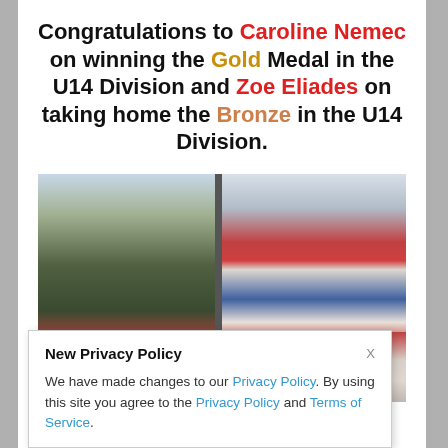Congratulations to Caroline Nemec on winning the Gold Medal in the U14 Division and Zoe Eliades on taking home the Bronze in the U14 Division.
[Figure (photo): Two side-by-side photos of young female athletes receiving medals at a field hockey event under a tent with red banners. Left photo shows a coach placing a medal on a girl in a teal shirt. Right photo shows two girls hugging with medals.]
New Privacy Policy
We have made changes to our Privacy Policy. By using this site you agree to the Privacy Policy and Terms of Service.